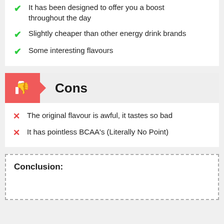It has been designed to offer you a boost throughout the day
Slightly cheaper than other energy drink brands
Some interesting flavours
Cons
The original flavour is awful, it tastes so bad
It has pointless BCAA's (Literally No Point)
Conclusion: